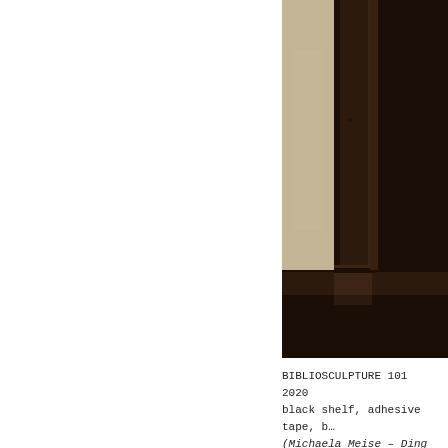[Figure (photo): Close-up photograph of a dark brown wooden frame or shelf corner against a beige/tan wall background. The frame is very dark, almost black-brown, showing detailed woodwork at the corner joint. The image is cropped showing only the right portion of the page.]
BIBLIOSCULPTURE 101
2020
black shelf, adhesive tape, b…
(Michaela Meise – Ding und R…
2012)